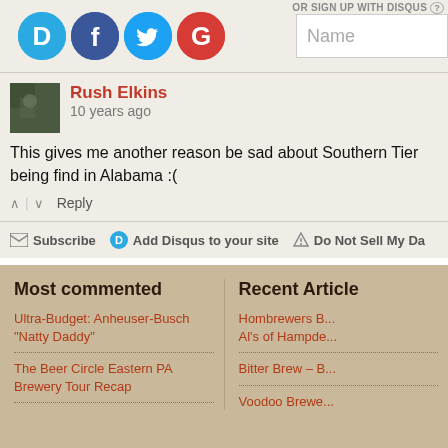[Figure (screenshot): Social login icons: Disqus (blue circle D), Facebook (dark blue circle f), Twitter (light blue circle bird), Google (red circle G), followed by a Name input field]
Rush Elkins
10 years ago
This gives me another reason be sad about Southern Tier being find in Alabama :(
^ | v  Reply
Subscribe  Add Disqus to your site  Do Not Sell My Da...
Most commented
Recent Article
Ultra-Budget: Anheuser-Busch "Natty Daddy"
The Beer Circle Eastern PA Brewery Tour Recap
Hombrewers B... Al's of Hampde...
Bitter Brew – B...
Voodoo Brewe...